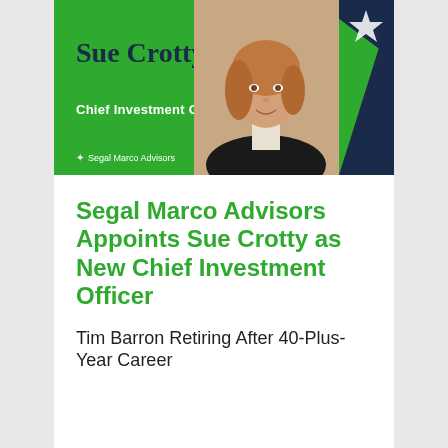[Figure (photo): Promotional banner with green background showing Sue Crotty's name and title 'Chief Investment Officer' with Segal Marco Advisors branding and a professional headshot photo of a woman with red/blonde hair]
Segal Marco Advisors Appoints Sue Crotty as New Chief Investment Officer
Tim Barron Retiring After 40-Plus-Year Career